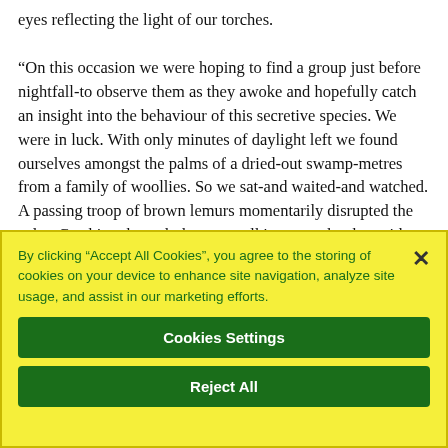eyes reflecting the light of our torches.

“On this occasion we were hoping to find a group just before nightfall-to observe them as they awoke and hopefully catch an insight into the behaviour of this secretive species. We were in luck. With only minutes of daylight left we found ourselves amongst the palms of a dried-out swamp-metres from a family of woollies. So we sat-and waited-and watched. A passing troop of brown lemurs momentarily disrupted the calm. Crashing through the trees-talking to each other with pig-like grunts-you hear them before you see them. But they weren't interested in anything here-
By clicking “Accept All Cookies”, you agree to the storing of cookies on your device to enhance site navigation, analyze site usage, and assist in our marketing efforts.
Cookies Settings
Reject All